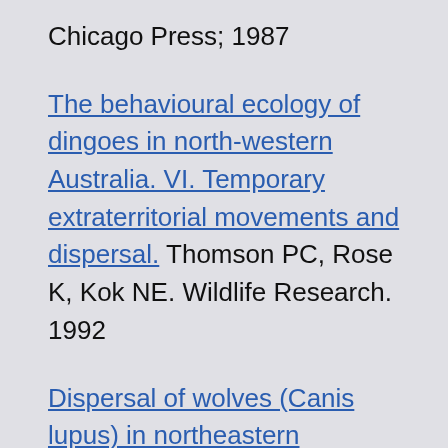Chicago Press; 1987
The behavioural ecology of dingoes in north-western Australia. VI. Temporary extraterritorial movements and dispersal. Thomson PC, Rose K, Kok NE. Wildlife Research. 1992
Dispersal of wolves (Canis lupus) in northeastern Minnesota, 1969–1989.